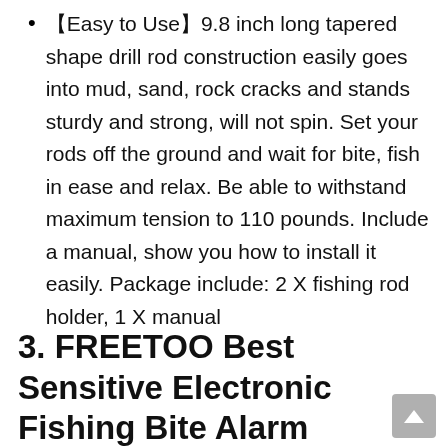【Easy to Use】9.8 inch long tapered shape drill rod construction easily goes into mud, sand, rock cracks and stands sturdy and strong, will not spin. Set your rods off the ground and wait for bite, fish in ease and relax. Be able to withstand maximum tension to 110 pounds. Include a manual, show you how to install it easily. Package include: 2 X fishing rod holder, 1 X manual
3. FREETOO Best Sensitive Electronic Fishing Bite Alarm